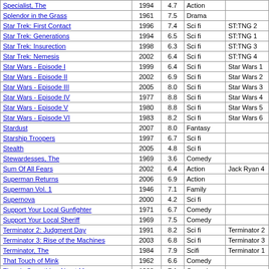| Title | Year | Rating | Genre | Series |
| --- | --- | --- | --- | --- |
| Specialist, The | 1994 | 4.7 | Action |  |
| Splendor in the Grass | 1961 | 7.5 | Drama |  |
| Star Trek: First Contact | 1996 | 7.4 | Sci fi | ST:TNG 2 |
| Star Trek: Generations | 1994 | 6.5 | Sci fi | ST:TNG 1 |
| Star Trek: Insurection | 1998 | 6.3 | Sci fi | ST:TNG 3 |
| Star Trek: Nemesis | 2002 | 6.4 | Sci fi | ST:TNG 4 |
| Star Wars - Episode I | 1999 | 6.4 | Sci fi | Star Wars 1 |
| Star Wars - Episode II | 2002 | 6.9 | Sci fi | Star Wars 2 |
| Star Wars - Episode III | 2005 | 8.0 | Sci fi | Star Wars 3 |
| Star Wars - Episode IV | 1977 | 8.8 | Sci fi | Star Wars 4 |
| Star Wars - Episode V | 1980 | 8.8 | Sci fi | Star Wars 5 |
| Star Wars - Episode VI | 1983 | 8.2 | Sci fi | Star Wars 6 |
| Stardust | 2007 | 8.0 | Fantasy |  |
| Starship Troopers | 1997 | 6.7 | Sci fi |  |
| Stealth | 2005 | 4.8 | Sci fi |  |
| Stewardesses, The | 1969 | 3.6 | Comedy |  |
| Sum Of All Fears | 2002 | 6.4 | Action | Jack Ryan 4 |
| Superman Returns | 2006 | 6.9 | Action |  |
| Superman Vol. 1 | 1946 | 7.1 | Family |  |
| Supernova | 2000 | 4.2 | Sci fi |  |
| Support Your Local Gunfighter | 1971 | 6.7 | Comedy |  |
| Support Your Local Sheriff | 1969 | 7.5 | Comedy |  |
| Terminator 2: Judgment Day | 1991 | 8.2 | Sci fi | Terminator 2 |
| Terminator 3: Rise of the Machines | 2003 | 6.8 | Sci fi | Terminator 3 |
| Terminator, The | 1984 | 7.9 | Scifi | Terminator 1 |
| That Touch of Mink | 1962 | 6.6 | Comedy |  |
| There's Something About Mary | 1998 | 7.1 | Comedy |  |